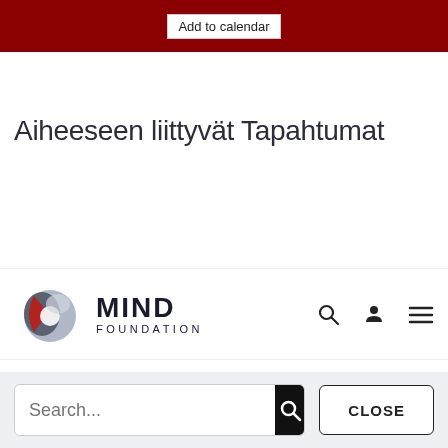[Figure (screenshot): Red banner with 'Add to calendar' button]
Aiheeseen liittyvät Tapahtumat
[Figure (logo): MIND Foundation logo with stylized globe icon and text 'MIND FOUNDATION']
[Figure (screenshot): Search bar with search input field, search button, and CLOSE button on grey background]